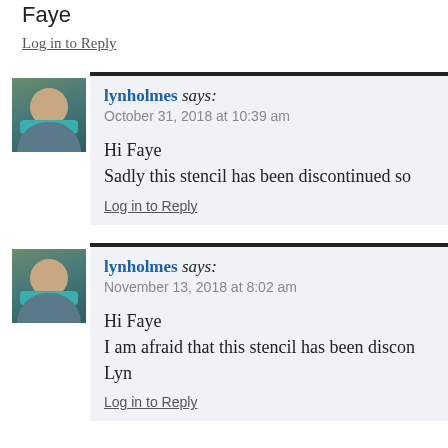Faye
Log in to Reply
lynholmes says: October 31, 2018 at 10:39 am
Hi Faye
Sadly this stencil has been discontinued so
Log in to Reply
lynholmes says: November 13, 2018 at 8:02 am
Hi Faye
I am afraid that this stencil has been discon
Lyn
Log in to Reply